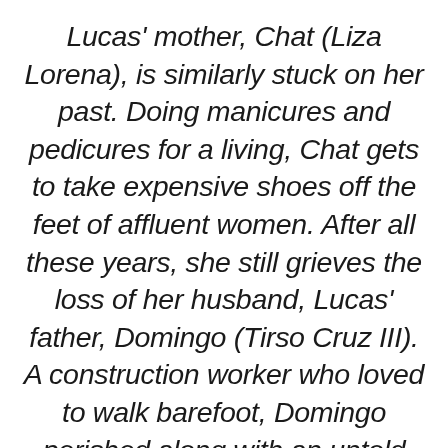Lucas' mother, Chat (Liza Lorena), is similarly stuck on her past. Doing manicures and pedicures for a living, Chat gets to take expensive shoes off the feet of affluent women. After all these years, she still grieves the loss of her husband, Lucas' father, Domingo (Tirso Cruz III). A construction worker who loved to walk barefoot, Domingo perished along with an untold number of workers during the collapse of an upper floor of the Manila Film Center in 1981, a pet project of the then First Lady Imelda Marcos. Chat has almost given up trying to contact the